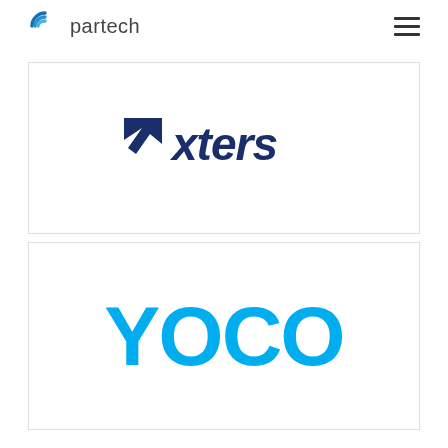partech
[Figure (logo): Pxters logo — dark blue stylized arrow/cursor icon followed by italic bold 'xters' text in dark blue]
[Figure (logo): YOCO logo — bold cyan/sky-blue uppercase letters 'YOCO' in a rounded sans-serif font]